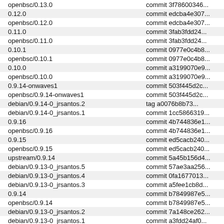| Tag/Branch | Commit |
| --- | --- |
| openbsc/0.13.0 | commit 3f78600346... |
| 0.12.0 | commit edcba4e307... |
| openbsc/0.12.0 | commit edcba4e307... |
| 0.11.0 | commit 3fab3fdd24... |
| openbsc/0.11.0 | commit 3fab3fdd24... |
| 0.10.1 | commit 0977e0c4b8... |
| openbsc/0.10.1 | commit 0977e0c4b8... |
| 0.10.0 | commit a3199070e9... |
| openbsc/0.10.0 | commit a3199070e9... |
| 0.9.14-onwaves1 | commit 503f445d2c... |
| openbsc/0.9.14-onwaves1 | commit 503f445d2c... |
| debian/0.9.14-0_jrsantos.2 | tag a0076b8b73... |
| debian/0.9.14-0_jrsantos.1 | commit 1cc5866319... |
| 0.9.16 | commit 4b744836e1... |
| openbsc/0.9.16 | commit 4b744836e1... |
| 0.9.15 | commit ed5cacb240... |
| openbsc/0.9.15 | commit ed5cacb240... |
| upstream/0.9.14 | commit 5a45b156d4... |
| debian/0.9.13-0_jrsantos.5 | commit 57ae3aa256... |
| debian/0.9.13-0_jrsantos.4 | commit 0fa1677013... |
| debian/0.9.13-0_jrsantos.3 | commit a5fee1cb8d... |
| 0.9.14 | commit b7849987e5... |
| openbsc/0.9.14 | commit b7849987e5... |
| debian/0.9.13-0_jrsantos.2 | commit 7a148ce262... |
| debian/0.9.13-0_jrsantos.1 | commit a3fdd24af0... |
| 0.9.13+deb1 | commit bb6034e2d8... |